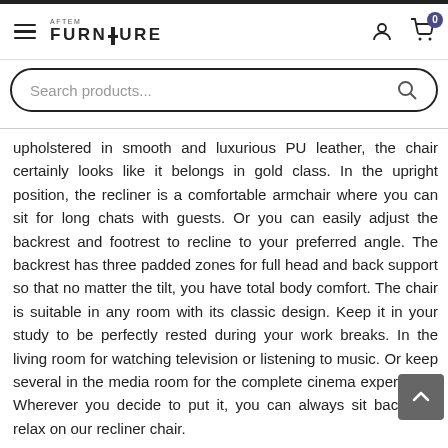AFTEM FURNITURE — navigation header with hamburger menu, logo, user icon, and cart (0)
[Figure (screenshot): Search products... search bar with rounded border and magnifying glass icon]
upholstered in smooth and luxurious PU leather, the chair certainly looks like it belongs in gold class. In the upright position, the recliner is a comfortable armchair where you can sit for long chats with guests. Or you can easily adjust the backrest and footrest to recline to your preferred angle. The backrest has three padded zones for full head and back support so that no matter the tilt, you have total body comfort. The chair is suitable in any room with its classic design. Keep it in your study to be perfectly rested during your work breaks. In the living room for watching television or listening to music. Or keep several in the media room for the complete cinema experience. Wherever you decide to put it, you can always sit back and relax on our recliner chair.